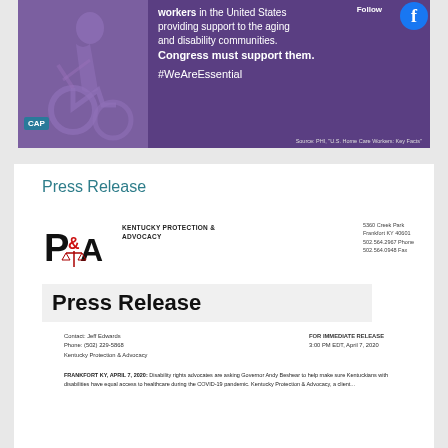[Figure (infographic): Purple banner with person in wheelchair silhouette on left, white text reading '...workers in the United States providing support to the aging and disability communities. Congress must support them. #WeAreEssential', CAP logo bottom left, Facebook follow button top right, source text bottom right.]
Press Release
[Figure (logo): Kentucky Protection & Advocacy (KP&A) logo with P&A letters and scales of justice graphic, followed by name and address: 5361 Creek Park, Frankfort KY 40601, 502.564.2967 Phone, 502.564.0948 Fax]
Press Release
Contact: Jeff Edwards
Phone: (502) 229-5868
Kentucky Protection & Advocacy
FOR IMMEDIATE RELEASE
3:00 PM EDT, April 7, 2020
FRANKFORT KY, APRIL 7, 2020: Disability rights advocates are asking Governor Andy Beshear to help make sure Kentuckians with disabilities have equal access to healthcare during the COVID-19 pandemic. Kentucky Protection & Advocacy, a client...